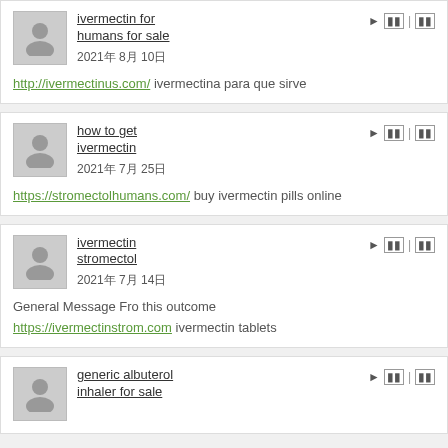ivermectin for humans for sale
2021年 8月 10日
http://ivermectinus.com/ ivermectina para que sirve
how to get ivermectin
2021年 7月 25日
https://stromectolhumans.com/ buy ivermectin pills online
ivermectin stromectol
2021年 7月 14日
General Message Fro this outcome
https://ivermectinstrom.com ivermectin tablets
generic albuterol inhaler for sale